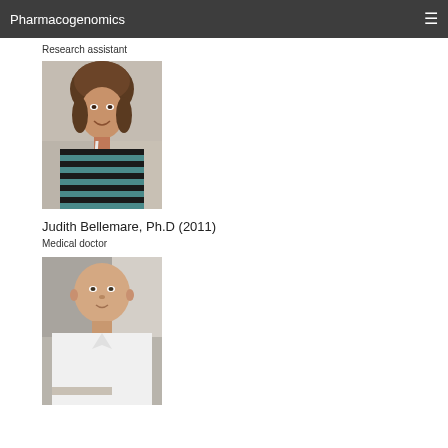Pharmacogenomics
Research assistant
[Figure (photo): Portrait photo of a young woman with brown hair, wearing a striped black and teal top, smiling at the camera.]
Judith Bellemare, Ph.D (2011)
Medical doctor
[Figure (photo): Portrait photo of a man with a shaved head wearing a white lab coat or shirt, leaning on a surface.]